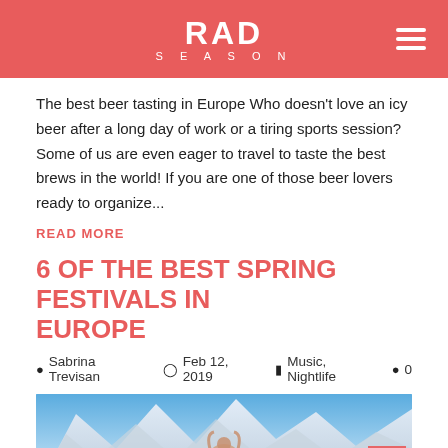RAD SEASON
The best beer tasting in Europe Who doesn't love an icy beer after a long day of work or a tiring sports session? Some of us are even eager to travel to taste the best brews in the world! If you are one of those beer lovers ready to organize...
READ MORE
6 OF THE BEST SPRING FESTIVALS IN EUROPE
Sabrina Trevisan   Feb 12, 2019   Music, Nightlife   0
[Figure (photo): Two people in swimwear posing with snowy mountains in the background, one person making a heart shape with their arms above their head.]